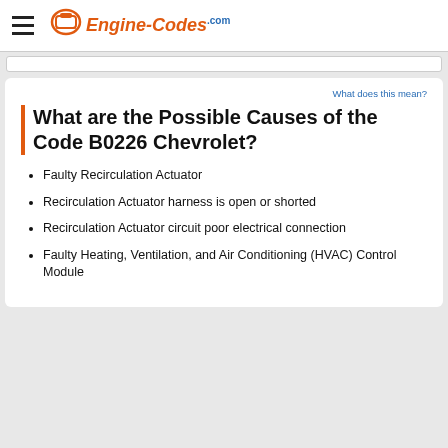Engine-Codes
What does this mean?
What are the Possible Causes of the Code B0226 Chevrolet?
Faulty Recirculation Actuator
Recirculation Actuator harness is open or shorted
Recirculation Actuator circuit poor electrical connection
Faulty Heating, Ventilation, and Air Conditioning (HVAC) Control Module